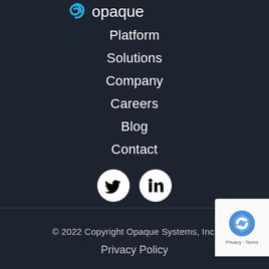[Figure (logo): Opaque Systems logo with blue swirl icon and white text 'opaque' partially visible at top]
Platform
Solutions
Company
Careers
Blog
Contact
[Figure (illustration): Twitter and LinkedIn social media icons in white circles on dark background]
© 2022 Copyright Opaque Systems, Inc.
Privacy Policy